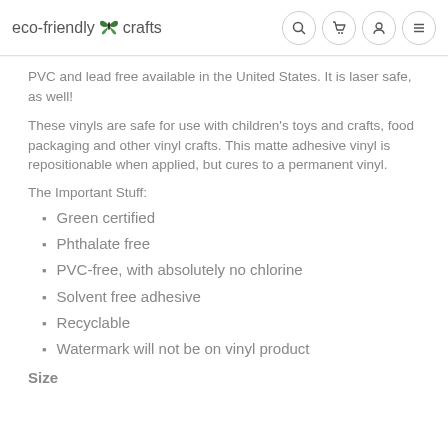eco-friendly crafts
PVC and lead free available in the United States. It is laser safe, as well!
These vinyls are safe for use with children's toys and crafts, food packaging and other vinyl crafts. This matte adhesive vinyl is repositionable when applied, but cures to a permanent vinyl.
The Important Stuff:
Green certified
Phthalate free
PVC-free, with absolutely no chlorine
Solvent free adhesive
Recyclable
Watermark will not be on vinyl product
Size